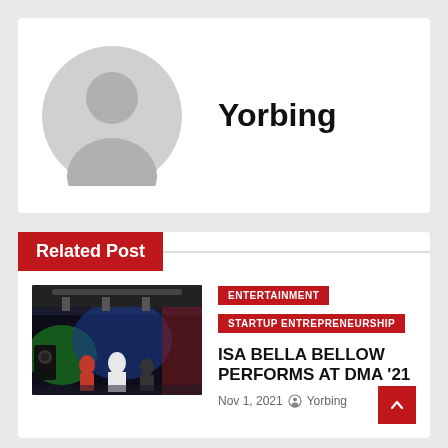[Figure (illustration): Generic grey user avatar/silhouette placeholder image]
Yorbing
Related Post
[Figure (photo): Concert or performance event photo with colorful stage lighting, performers on stage with blue, red and green lights]
ENTERTAINMENT
STARTUP ENTREPRENEURSHIP
ISA BELLA BELLOW PERFORMS AT DMA '21
Nov 1, 2021  Yorbing